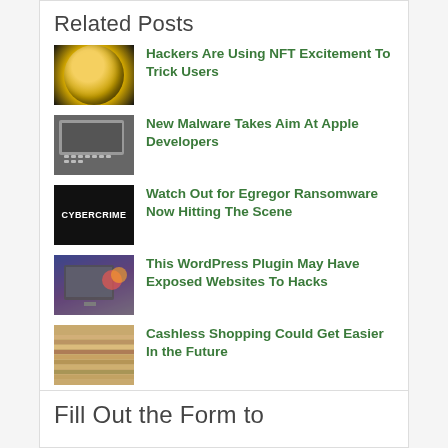Related Posts
Hackers Are Using NFT Excitement To Trick Users
New Malware Takes Aim At Apple Developers
Watch Out for Egregor Ransomware Now Hitting The Scene
This WordPress Plugin May Have Exposed Websites To Hacks
Cashless Shopping Could Get Easier In the Future
Fill Out the Form to